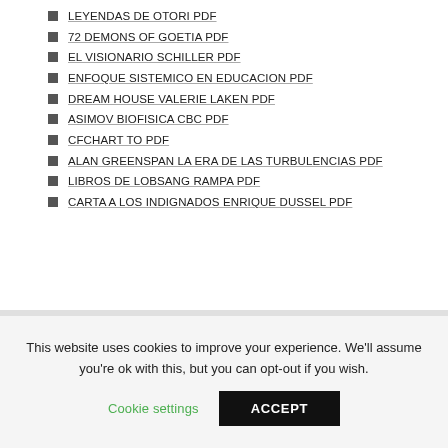LEYENDAS DE OTORI PDF
72 DEMONS OF GOETIA PDF
EL VISIONARIO SCHILLER PDF
ENFOQUE SISTEMICO EN EDUCACION PDF
DREAM HOUSE VALERIE LAKEN PDF
ASIMOV BIOFISICA CBC PDF
CFCHART TO PDF
ALAN GREENSPAN LA ERA DE LAS TURBULENCIAS PDF
LIBROS DE LOBSANG RAMPA PDF
CARTA A LOS INDIGNADOS ENRIQUE DUSSEL PDF
This website uses cookies to improve your experience. We'll assume you're ok with this, but you can opt-out if you wish.
Cookie settings | ACCEPT